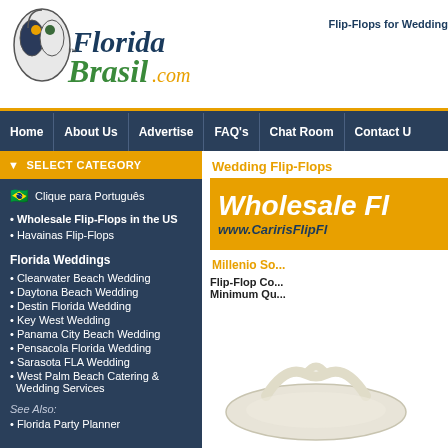[Figure (logo): FloridaBrasil.com logo with mouse cursor icon]
Flip-Flops for Wedding
Home | About Us | Advertise | FAQ's | Chat Room | Contact Us
SELECT CATEGORY
Clique para Português
• Wholesale Flip-Flops in the US
• Havainas Flip-Flops
Florida Weddings
• Clearwater Beach Wedding
• Daytona Beach Wedding
• Destin Florida Wedding
• Key West Wedding
• Panama City Beach Wedding
• Pensacola Florida Wedding
• Sarasota FLA Wedding
• West Palm Beach Catering & Wedding Services
See Also:
• Florida Party Planner
Wedding Flip-Flops
[Figure (illustration): Wholesale Flip-Flops banner with URL www.CaririsFlipFl...]
Millenio So...
Flip-Flop Co... Minimum Qu...
[Figure (photo): White flip-flop sandal product photo]